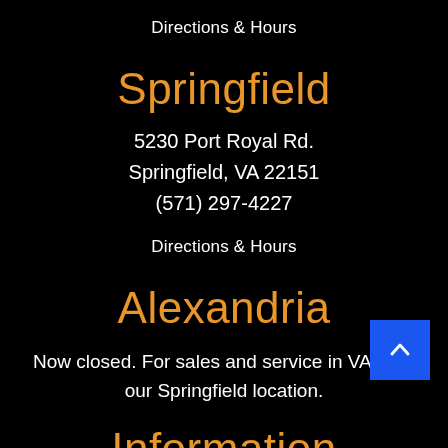Directions & Hours
Springfield
5230 Port Royal Rd.
Springfield, VA 22151
(571) 297-4227
Directions & Hours
Alexandria
Now closed. For sales and service in VA, visit our Springfield location.
Information